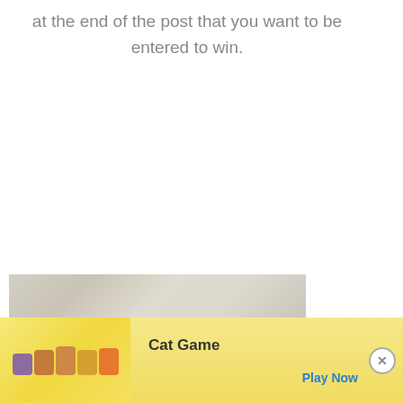at the end of the post that you want to be entered to win.
[Figure (photo): Close-up photograph of a tufted cream/beige fabric cushion or upholstered surface with watermark text 'town-n-country-living.com']
[Figure (screenshot): Mobile advertisement banner for 'Cat Game' showing cartoon cat characters on a yellow/gold background, with 'Ad' label, 'Cat Game' text, 'Play Now' button, and a close (X) button]